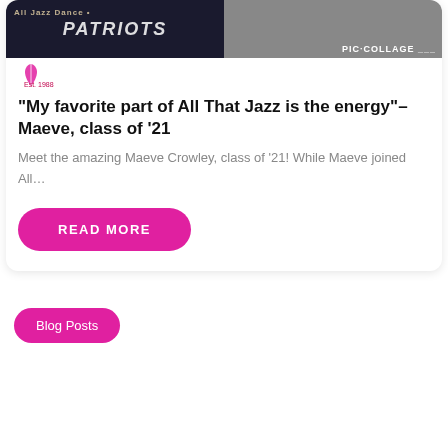[Figure (photo): Two side-by-side photos: left shows Patriots logo/jersey, right shows a collage photo with PIC•COLLAGE watermark]
“My favorite part of All That Jazz is the energy”– Maeve, class of ’21
Meet the amazing Maeve Crowley, class of ’21!  While Maeve joined All…
READ MORE
Blog Posts